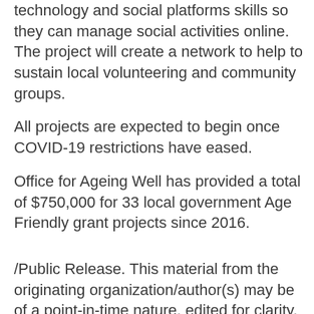technology and social platforms skills so they can manage social activities online. The project will create a network to help to sustain local volunteering and community groups.
All projects are expected to begin once COVID-19 restrictions have eased.
Office for Ageing Well has provided a total of $750,000 for 33 local government Age Friendly grant projects since 2016.
/Public Release. This material from the originating organization/author(s) may be of a point-in-time nature, edited for clarity, style and length. The views and opinions